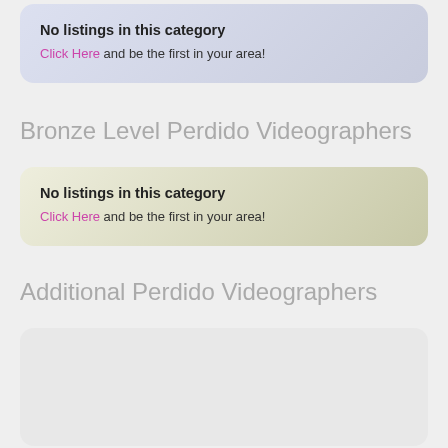No listings in this category
Click Here and be the first in your area!
Bronze Level Perdido Videographers
No listings in this category
Click Here and be the first in your area!
Additional Perdido Videographers
[Figure (other): Empty gray card placeholder for additional listings]